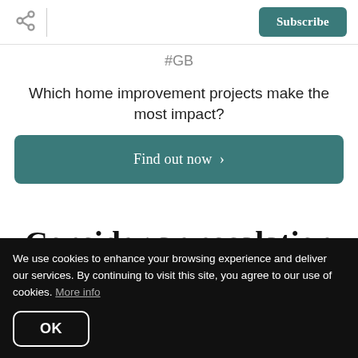Subscribe
#GB
Which home improvement projects make the most impact?
Find out now >
Consider an escalation
We use cookies to enhance your browsing experience and deliver our services. By continuing to visit this site, you agree to our use of cookies. More info
OK